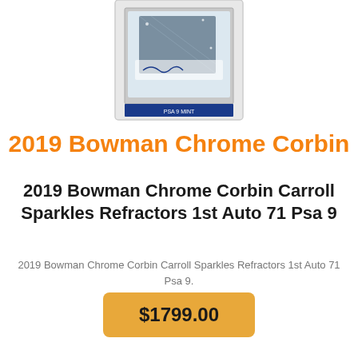[Figure (photo): A graded PSA 9 trading card showing 2019 Bowman Chrome Corbin Carroll Sparkles Refractors 1st Auto, displayed in a protective plastic holder/slab]
2019 Bowman Chrome Corbin
2019 Bowman Chrome Corbin Carroll Sparkles Refractors 1st Auto 71 Psa 9
2019 Bowman Chrome Corbin Carroll Sparkles Refractors 1st Auto 71 Psa 9.
$1799.00